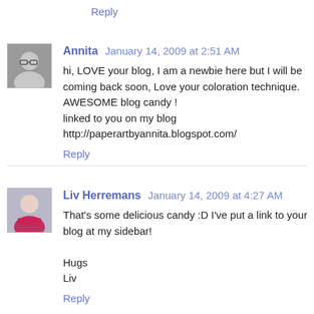Reply
Annita  January 14, 2009 at 2:51 AM
hi, LOVE your blog, I am a newbie here but I will be coming back soon, Love your coloration technique.
AWESOME blog candy !
linked to you on my blog
http://paperartbyannita.blogspot.com/
Reply
Liv Herremans  January 14, 2009 at 4:27 AM
That's some delicious candy :D I've put a link to your blog at my sidebar!

Hugs
Liv
Reply